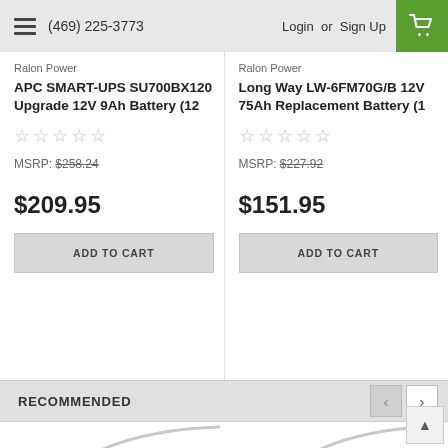(469) 225-3773  Login or Sign Up
Ralon Power
Ralon Power
APC SMART-UPS SU700BX120 Upgrade 12V 9Ah Battery (12
MSRP: $258.24
$209.95
ADD TO CART
Long Way LW-6FM70G/B 12V 75Ah Replacement Battery (1
MSRP: $227.92
$151.95
ADD TO CART
RECOMMENDED
[Figure (photo): Partial product image bottom left]
[Figure (photo): Partial product image bottom right]